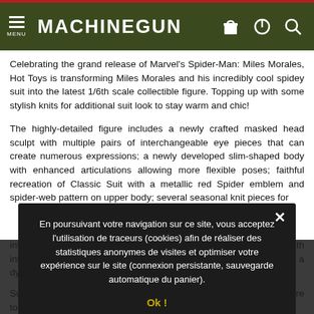MACHINEGUN
Celebrating the grand release of Marvel's Spider-Man: Miles Morales, Hot Toys is transforming Miles Morales and his incredibly cool spidey suit into the latest 1/6th scale collectible figure. Topping up with some stylish knits for additional suit look to stay warm and chic!
The highly-detailed figure includes a newly crafted masked head sculpt with multiple pairs of interchangeable eye pieces that can create numerous expressions; a newly developed slim-shaped body with enhanced articulations allowing more flexible poses; faithful recreation of Classic Suit with a metallic red Spider emblem and spider-web pattern on upper body; several seasonal knit pieces for interchangeable Winter Suit look; a casual backpack with interchangeable straps; dynamic city scene LED light-up hands; and a dynamic figure stand.
Swing around with Spider-Man: Miles Morales Collectible Figure today!
The 1/6th scale Miles Morales Collectible Figure specially features:
- Authentic and detailed likeness of Miles Morales wearing Classic
En poursuivant votre navigation sur ce site, vous acceptez l'utilisation de traceurs (cookies) afin de réaliser des statistiques anonymes de visites et optimiser votre expérience sur le site (connexion persistante, sauvegarde automatique du panier).
Ok !
En savoir plus